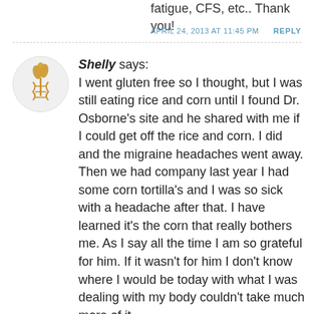fatigue, CFS, etc.. Thank you!
APRIL 24, 2013 AT 11:45 PM
REPLY
[Figure (logo): Circular avatar with wheat and DNA helix logo in gold and brown on light gray background]
Shelly says: I went gluten free so I thought, but I was still eating rice and corn until I found Dr. Osborne's site and he shared with me if I could get off the rice and corn. I did and the migraine headaches went away. Then we had company last year I had some corn tortilla's and I was so sick with a headache after that. I have learned it's the corn that really bothers me. As I say all the time I am so grateful for him. If it wasn't for him I don't know where I would be today with what I was dealing with my body couldn't take much more of it.